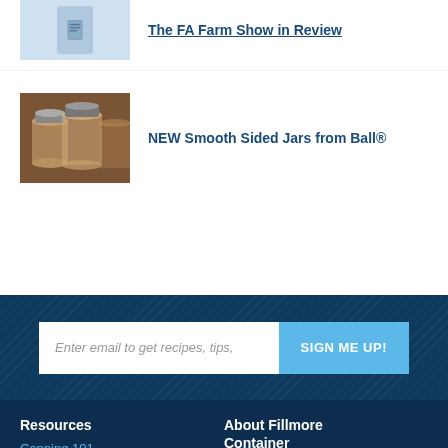[Figure (photo): Partially visible thumbnail image with light blue background and document/jar icon]
The FA Farm Show in Review
[Figure (photo): Photo of glass canning jars with lids on a surface]
NEW Smooth Sided Jars from Ball®
Enter email to get recipes, tips,
SIGN ME UP!
Resources
Canning 101
What's New
Glossary
About Fillmore Container
FAQs
Privacy Policy